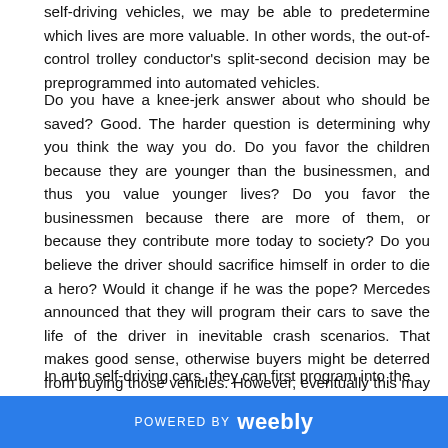self-driving vehicles, we may be able to predetermine which lives are more valuable. In other words, the out-of-control trolley conductor's split-second decision may be preprogrammed into automated vehicles.
Do you have a knee-jerk answer about who should be saved? Good. The harder question is determining why you think the way you do. Do you favor the children because they are younger than the businessmen, and thus you value younger lives? Do you favor the businessmen because there are more of them, or because they contribute more today to society? Do you believe the driver should sacrifice himself in order to die a hero? Would it change if he was the pope? Mercedes announced that they will program their cars to save the life of the driver in inevitable crash scenarios. That makes good sense, otherwise buyers might be deterred from buying those vehicles. However, eventually this may become a regulatory matter beyond the role of automakers.
In auto self-driving cars, they can first program into the...
POWERED BY weebly